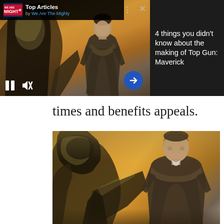[Figure (screenshot): Ad overlay: video player showing man in flight suit standing in front of jet aircraft with golden sky. Top-left shows 'We Are The Mighty' logo with 'Top Articles by We Are The Mighty'. Bottom-left has pause and mute icons; bottom-right has blue circular arrow button. Top-right area shows dark grey panel with text.]
4 things you didn't know about the making of Top Gun: Maverick
times and benefits appeals.
[Figure (photo): Photo of Tom Cruise as Maverick in flight suit standing in front of military jet aircraft with dramatic golden-orange sky in background.]